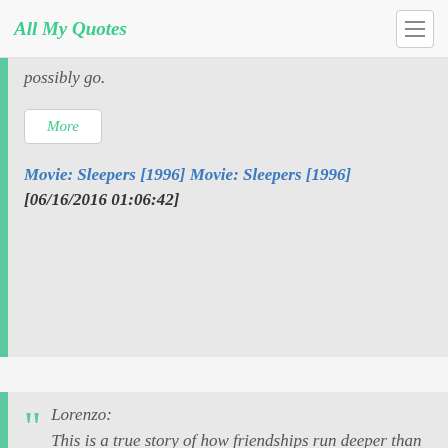All My Quotes
possibly go.
More
Movie: Sleepers [1996] Movie: Sleepers [1996] [06/16/2016 01:06:42]
Lorenzo: This is a true story of how friendships run deeper than